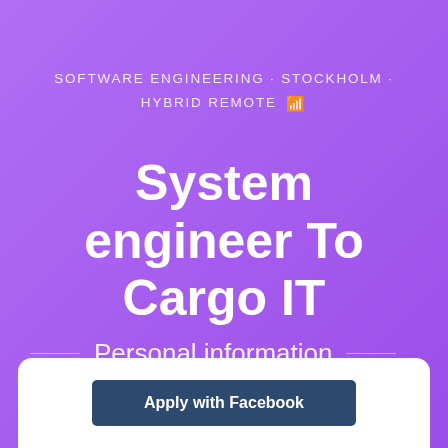SOFTWARE ENGINEERING · STOCKHOLM · HYBRID REMOTE
System engineer To Cargo IT
Personal information
Apply with Facebook